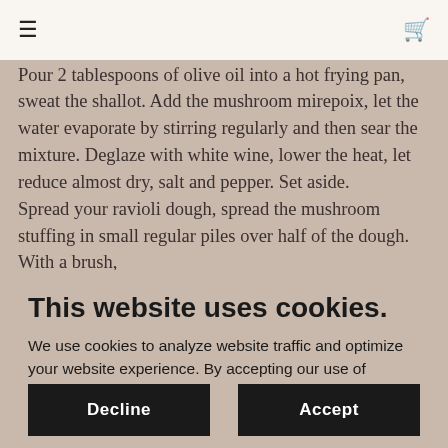≡ [hamburger menu] [cart icon]
them with a clean and damp cloth and cut them into mirepoix. Peel the shallot and chop it finely.
Pour 2 tablespoons of olive oil into a hot frying pan, sweat the shallot. Add the mushroom mirepoix, let the water evaporate by stirring regularly and then sear the mixture. Deglaze with white wine, lower the heat, let reduce almost dry, salt and pepper. Set aside.
Spread your ravioli dough, spread the mushroom stuffing in small regular piles over half of the dough. With a brush,
This website uses cookies.
We use cookies to analyze website traffic and optimize your website experience. By accepting our use of cookies, your data will be aggregated with all other user data.
Decline
Accept